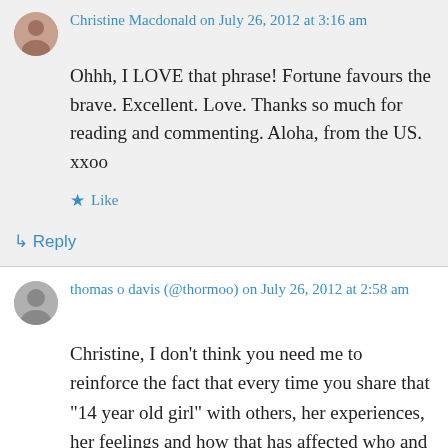Christine Macdonald on July 26, 2012 at 3:16 am
Ohhh, I LOVE that phrase! Fortune favours the brave. Excellent. Love. Thanks so much for reading and commenting. Aloha, from the US. xxoo
Like
Reply
thomas o davis (@thormoo) on July 26, 2012 at 2:58 am
Christine, I don’t think you need me to reinforce the fact that every time you share that “14 year old girl” with others, her experiences, her feelings and how that has affected who and what